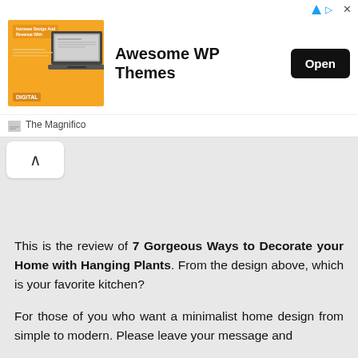[Figure (screenshot): Advertisement banner for Awesome WP Themes with an orange thumbnail image showing a laptop and design materials, a bold title 'Awesome WP Themes', and a black 'Open' button. Below is the site label 'The Magnifico'.]
[Figure (screenshot): A grey browser navigation bar with a white back/up button showing an upward-pointing chevron (^) symbol.]
This is the review of 7 Gorgeous Ways to Decorate your Home with Hanging Plants. From the design above, which is your favorite kitchen?
For those of you who want a minimalist home design from simple to modern. Please leave your message and